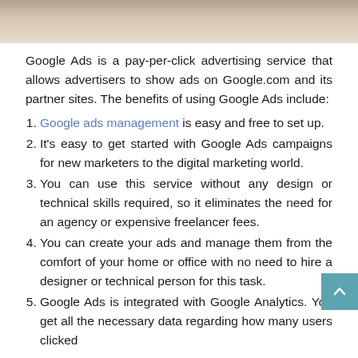[Figure (photo): Top portion of a photo showing what appears to be furniture/bedding in a home setting, cropped to show only the upper part.]
Google Ads is a pay-per-click advertising service that allows advertisers to show ads on Google.com and its partner sites. The benefits of using Google Ads include:
Google ads management is easy and free to set up.
It's easy to get started with Google Ads campaigns for new marketers to the digital marketing world.
You can use this service without any design or technical skills required, so it eliminates the need for an agency or expensive freelancer fees.
You can create your ads and manage them from the comfort of your home or office with no need to hire a designer or technical person for this task.
Google Ads is integrated with Google Analytics. You get all the necessary data regarding how many users clicked on the ads and at top of that, they clicked on your